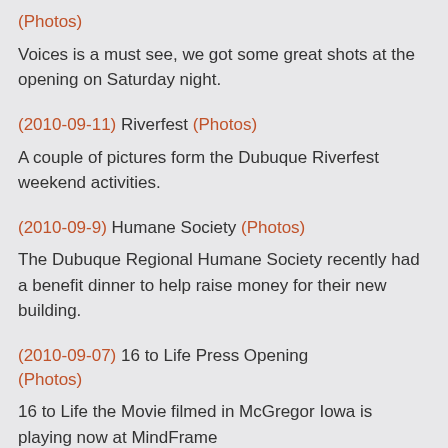(Photos)
Voices is a must see, we got some great shots at the opening on Saturday night.
(2010-09-11) Riverfest (Photos)
A couple of pictures form the Dubuque Riverfest weekend activities.
(2010-09-9) Humane Society (Photos)
The Dubuque Regional Humane Society recently had a benefit dinner to help raise money for their new building.
(2010-09-07) 16 to Life Press Opening (Photos)
16 to Life the Movie filmed in McGregor Iowa is playing now at MindFrame